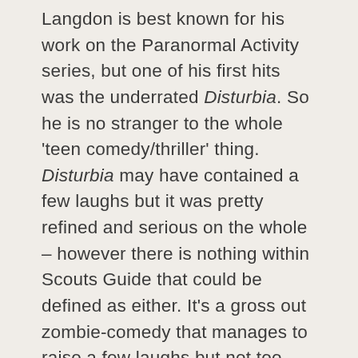Langdon is best known for his work on the Paranormal Activity series, but one of his first hits was the underrated Disturbia. So he is no stranger to the whole 'teen comedy/thriller' thing. Disturbia may have contained a few laughs but it was pretty refined and serious on the whole – however there is nothing within Scouts Guide that could be defined as either. It's a gross out zombie-comedy that manages to raise a few laughs but not too much more than that.
Thing is, that all sounds like the whole thing is a bore-fest. But it isn't. It's very watchable. It ticks along at a nice pace, there are quite a few bits that'll make you smirk and some of the